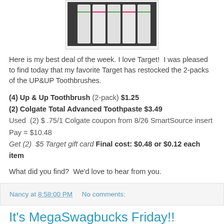[Figure (photo): Photo of UP&UP toothbrush 2-packs in packaging at Target store]
Here is my best deal of the week. I love Target!  I was pleased to find today that my favorite Target has restocked the 2-packs of the UP&UP Toothbrushes.
(4) Up & Up Toothbrush (2-pack) $1.25
(2) Colgate Total Advanced Toothpaste $3.49
Used  (2) $ .75/1 Colgate coupon from 8/26 SmartSource insert
Pay = $10.48
Get (2)  $5 Target gift card  Final cost: $0.48 or $0.12 each item
What did you find?  We'd love to hear from you.
Nancy at 8:58:00 PM     No comments:
It's MegaSwagbucks Friday!!